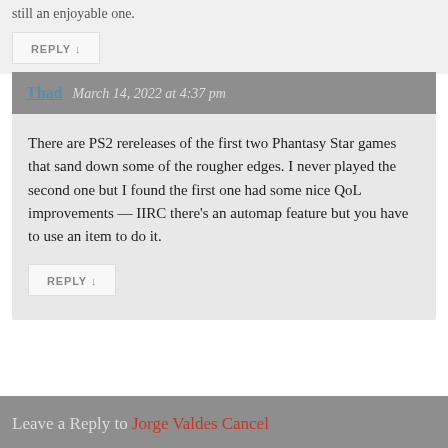still an enjoyable one.
REPLY ↓
Thad  March 14, 2022 at 4:37 pm
There are PS2 rereleases of the first two Phantasy Star games that sand down some of the rougher edges. I never played the second one but I found the first one had some nice QoL improvements — IIRC there's an automap feature but you have to use an item to do it.
REPLY ↓
Leave a Reply to Jorge Valdes Cancel